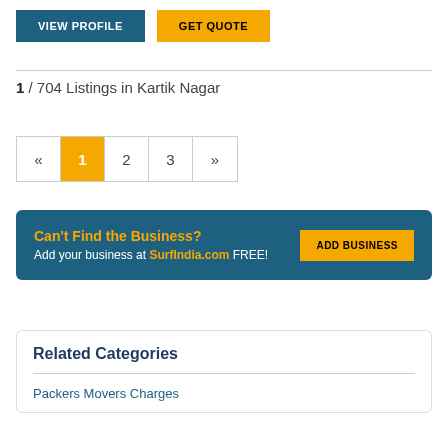VIEW PROFILE | GET QUOTE
1 / 704 Listings in Kartik Nagar
« 1 2 3 »
Can't Find the Business? Add your business at SurfIndia.com FREE! ADD BUSINESS
Related Categories
Packers Movers Charges